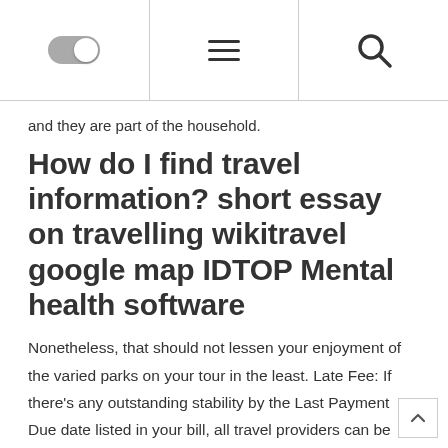[Toggle switch] [Hamburger menu] [Search icon]
and they are part of the household.
How do I find travel information? short essay on travelling wikitravel google map IDTOP Mental health software
Nonetheless, that should not lessen your enjoyment of the varied parks on your tour in the least. Late Fee: If there's any outstanding stability by the Last Payment Due date listed in your bill, all travel providers can be subject to computerized cancellation and cancellation fees will apply. A reclining chair, loveseat or sofa with power options gives you and your guests the flexibility to simply find the perfect setting for ultimate